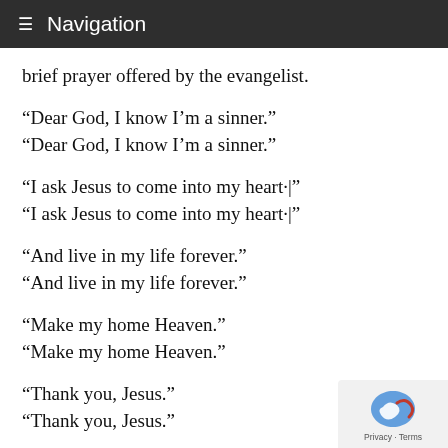Navigation
brief prayer offered by the evangelist.
“Dear God, I know I’m a sinner.”
“Dear God, I know I’m a sinner.”
“I ask Jesus to come into my heart·|”
“I ask Jesus to come into my heart·|”
“And live in my life forever.”
“And live in my life forever.”
“Make my home Heaven.”
“Make my home Heaven.”
“Thank you, Jesus.”
“Thank you, Jesus.”
A knot of people had formed around us during the